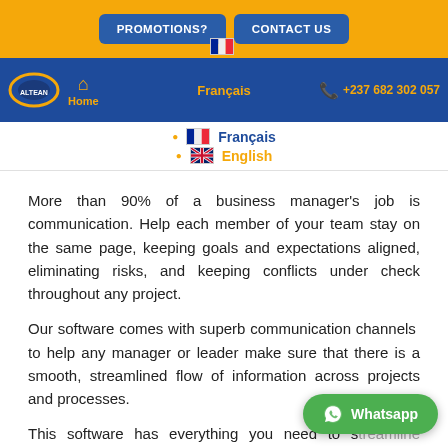PROMOTIONS?  CONTACT US  Français  English  Home  +237 682 302 057
More than 90% of a business manager's job is communication. Help each member of your team stay on the same page, keeping goals and expectations aligned, eliminating risks, and keeping conflicts under check throughout any project.
Our software comes with superb communication channels to help any manager or leader make sure that there is a smooth, streamlined flow of information across projects and processes.
This software has everything you need to s... projects and team members. Add comments on tasks,